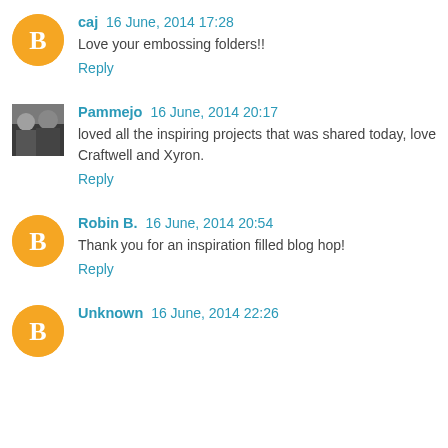caj 16 June, 2014 17:28
Love your embossing folders!!
Reply
Pammejo 16 June, 2014 20:17
loved all the inspiring projects that was shared today, love Craftwell and Xyron.
Reply
Robin B. 16 June, 2014 20:54
Thank you for an inspiration filled blog hop!
Reply
Unknown 16 June, 2014 22:26